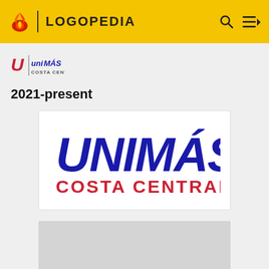LOGOPEDIA
[Figure (logo): UniMás Costa Central small logo with red U icon and text]
2021-present
[Figure (logo): UniMás Costa Central logo — UNIMÁS in large bold dark blue italic letters, COSTA CENTRAL in bold red letters below]
[Figure (other): Gray placeholder rectangle (partially visible, content loading)]